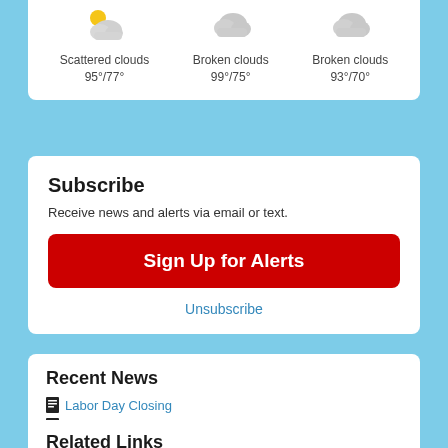[Figure (infographic): Weather widget showing three days: Scattered clouds 95°/77°, Broken clouds 99°/75°, Broken clouds 93°/70°]
Subscribe
Receive news and alerts via email or text.
Sign Up for Alerts
Unsubscribe
Recent News
Labor Day Closing
ALL VAN BUREN BOIL ORDERS LIFTED
View All News »
Related Links